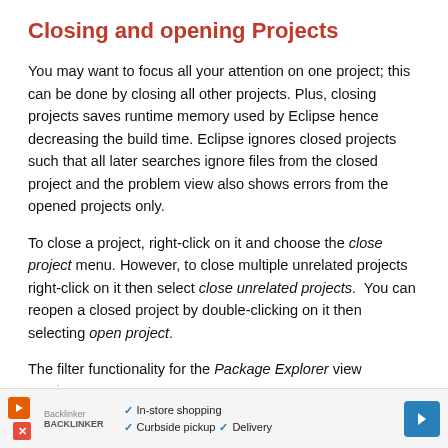Closing and opening Projects
You may want to focus all your attention on one project; this can be done by closing all other projects. Plus, closing projects saves runtime memory used by Eclipse hence decreasing the build time. Eclipse ignores closed projects such that all later searches ignore files from the closed project and the problem view also shows errors from the opened projects only.
To close a project, right-click on it and choose the close project menu. However, to close multiple unrelated projects right-click on it then select close unrelated projects.  You can reopen a closed project by double-clicking on it then selecting open project.
The filter functionality for the Package Explorer view prov